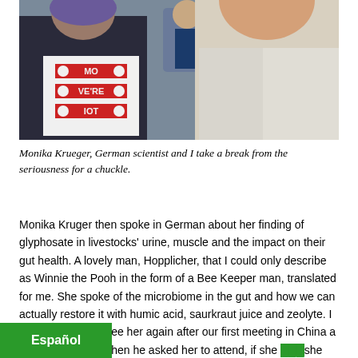[Figure (photo): Two women taking a break and smiling/laughing together outdoors. One woman wears a white t-shirt with red text reading 'MOVE'RE IOT' (partially visible). Other people and machinery visible in the background.]
Monika Krueger, German scientist and I take a break from the seriousness for a chuckle.
Monika Kruger then spoke in German about her finding of glyphosate in livestocks' urine, muscle and the impact on their gut health. A lovely man, Hopplicher, that I could only describe as Winnie the Pooh in the form of a Bee Keeper man, translated for me. She spoke of the microbiome in the gut and how we can actually restore it with humic acid, saurkraut juice and zeolyte. I was so thrilled to see her again after our first meeting in China a [...]ld me that when he asked her to attend, if she [...]she said, " Well it's not a matter if I could, I NEED